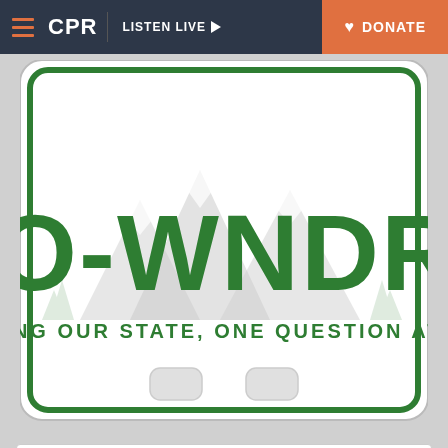CPR  LISTEN LIVE  DONATE
[Figure (illustration): Colorado license plate styled image with text CO-WNDRS and tagline EXPLORING OUR STATE, ONE QUESTION AT A TIME.]
What do you wonder about Colorado that you'd like us
Your contact info
A reporter will contact you if we look into your question.
Name